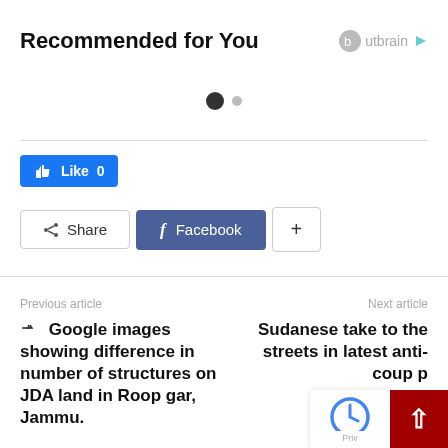Recommended for You
[Figure (logo): Outbrain logo with play button icon]
[Figure (other): Pagination dots: one large filled dot and one smaller dot]
[Figure (other): Facebook Like button showing '0']
[Figure (other): Share button row: Share, Facebook, and + buttons]
Previous article
Next article
Google images showing difference in number of structures on JDA land in Roop gar, Jammu.
Sudanese take to the streets in latest anti-coup p